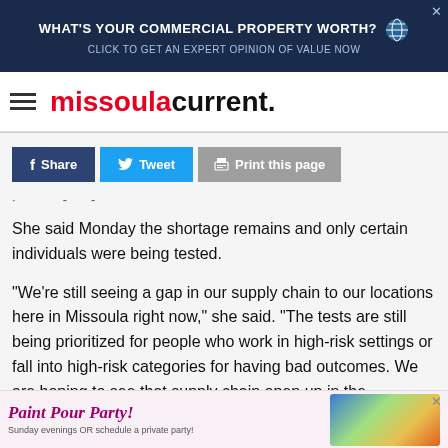[Figure (other): Top banner advertisement: dark navy background. Text reads 'WHAT'S YOUR COMMERCIAL PROPERTY WORTH?' with subtext 'CLICK TO GET AN EXPERT OPINION OF VALUE NOW'. Globe icon on right. Close button X top right.]
missoula current.
[Figure (other): Social sharing buttons row: Facebook Share (dark blue), Tweet (light blue), Print this page (gray)]
. - -
She said Monday the shortage remains and only certain individuals were being tested.
"We're still seeing a gap in our supply chain to our locations here in Missoula right now," she said. "The tests are still being prioritized for people who work in high-risk settings or fall into high-risk categories for having bad outcomes. We are hoping to see that supply chain open up in the
[Figure (other): Bottom banner advertisement: light pink background. Cursive text 'Paint Pour Party!' in purple/magenta. Subtext 'Sunday evenings OR schedule a private party!' with colorful abstract paint pour image on right. Close X top right.]